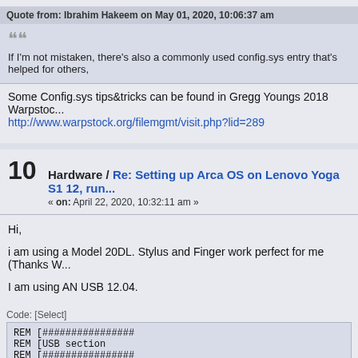Quote from: Ibrahim Hakeem on May 01, 2020, 10:06:37 am
If I'm not mistaken, there's also a commonly used config.sys entry that's helped for others,
Some Config.sys tips&tricks can be found in Gregg Youngs 2018 Warpstock http://www.warpstock.org/filemgmt/visit.php?lid=289
10  Hardware / Re: Setting up Arca OS on Lenovo Yoga S1 12, run... « on: April 22, 2020, 10:32:11 am »
Hi,
i am using a Model 20DL. Stylus and Finger work perfect for me (Thanks W...
I am using AN USB 12.04.
Code: [Select]
REM [################
REM [USB section
REM [################
BASEDEV=USBD.SYS
BASEDEV=USBEHCD.SYS
BASEDEV=USBHID.SYS
DEVICE=...BASELUSRPORT.SYS